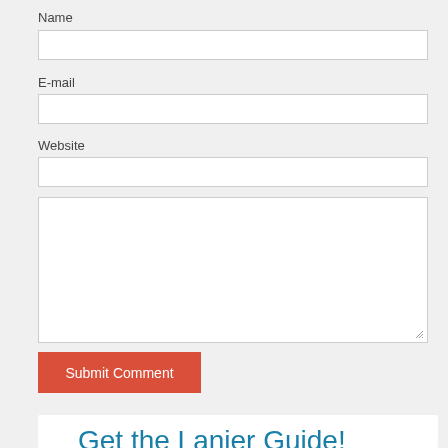Name
E-mail
Website
Submit Comment
Get the Lanier Guide!